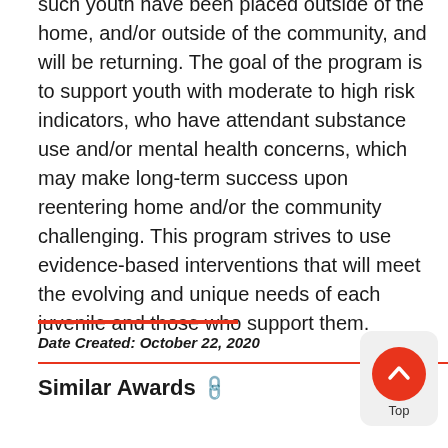such youth have been placed outside of the home, and/or outside of the community, and will be returning. The goal of the program is to support youth with moderate to high risk indicators, who have attendant substance use and/or mental health concerns, which may make long-term success upon reentering home and/or the community challenging. This program strives to use evidence-based interventions that will meet the evolving and unique needs of each juvenile and those who support them.
Date Created: October 22, 2020
Similar Awards